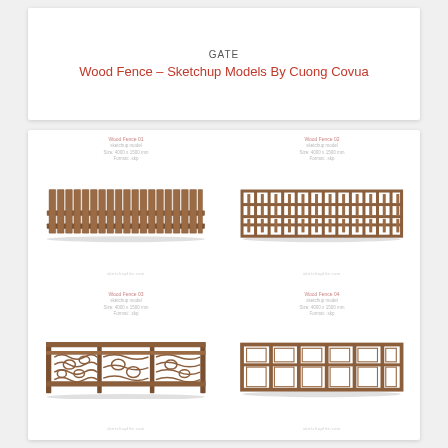GATE
Wood Fence – Sketchup Models By Cuong Covua
[Figure (illustration): Four wood fence / gate Sketchup 3D models shown in a 2x2 grid. Top-left: a traditional vertical-plank wooden fence. Top-right: a decorative lattice/grid pattern wood panel. Bottom-left: an ornate fence with floral/vine cutout decorations. Bottom-right: a simple rectangular-panel grid fence.]